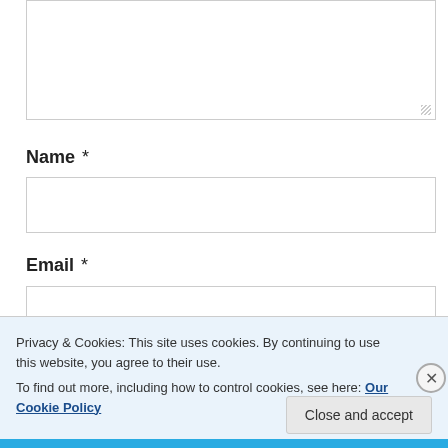[Figure (screenshot): Textarea input box (empty, resizable) at top of page]
Name *
[Figure (screenshot): Text input field for Name]
Email *
[Figure (screenshot): Text input field for Email]
Privacy & Cookies: This site uses cookies. By continuing to use this website, you agree to their use.
To find out more, including how to control cookies, see here: Our Cookie Policy
Close and accept